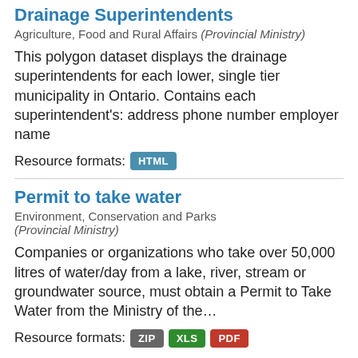Drainage Superintendents
Agriculture, Food and Rural Affairs (Provincial Ministry)
This polygon dataset displays the drainage superintendents for each lower, single tier municipality in Ontario. Contains each superintendent's: address phone number employer name
Resource formats: HTML
Permit to take water
Environment, Conservation and Parks (Provincial Ministry)
Companies or organizations who take over 50,000 litres of water/day from a lake, river, stream or groundwater source, must obtain a Permit to Take Water from the Ministry of the…
Resource formats: ZIP XLS PDF